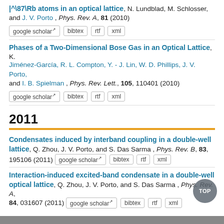^\87\Rb atoms in an optical lattice, N. Lundblad, M. Schlosser, and J. V. Porto , Phys. Rev. A, 81 (2010)
google scholar | bibtex | rtf | xml
Phases of a Two-Dimensional Bose Gas in an Optical Lattice, K. Jiménez-García, R. L. Compton, Y. - J. Lin, W. D. Phillips, J. V. Porto, and I. B. Spielman , Phys. Rev. Lett., 105, 110401 (2010)
google scholar | bibtex | rtf | xml
2011
Condensates induced by interband coupling in a double-well lattice, Q. Zhou, J. V. Porto, and S. Das Sarma , Phys. Rev. B, 83, 195106 (2011)
google scholar | bibtex | rtf | xml
Interaction-induced excited-band condensate in a double-well optical lattice, Q. Zhou, J. V. Porto, and S. Das Sarma , Phys. Rev. A, 84, 031607 (2011)
google scholar | bibtex | rtf | xml